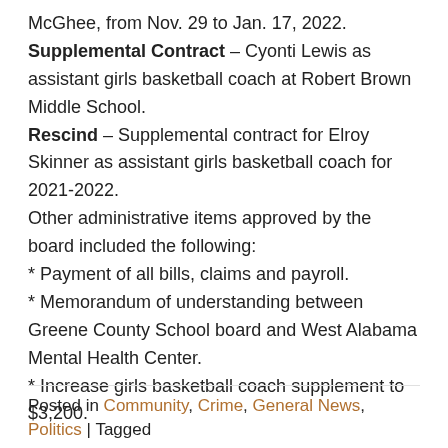McGhee, from Nov. 29 to Jan. 17, 2022.
Supplemental Contract – Cyonti Lewis as assistant girls basketball coach at Robert Brown Middle School.
Rescind – Supplemental contract for Elroy Skinner as assistant girls basketball coach for 2021-2022.
Other administrative items approved by the board included the following:
* Payment of all bills, claims and payroll.
* Memorandum of understanding between Greene County School board and West Alabama Mental Health Center.
* Increase girls basketball coach supplement to $3,200.
Posted in Community, Crime, General News, Politics | Tagged